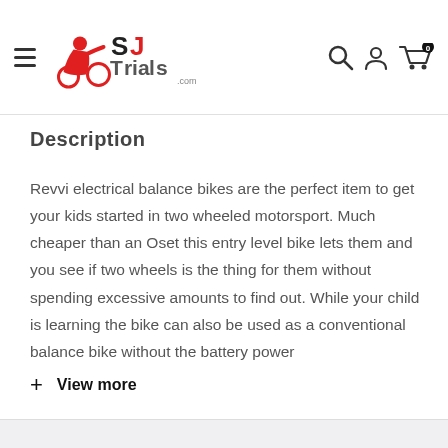SJ Trials .com — navigation header with hamburger menu, logo, search, account, and cart icons
Description
Revvi electrical balance bikes are the perfect item to get your kids started in two wheeled motorsport. Much cheaper than an Oset this entry level bike lets them and you see if two wheels is the thing for them without spending excessive amounts to find out. While your child is learning the bike can also be used as a conventional balance bike without the battery power
+ View more